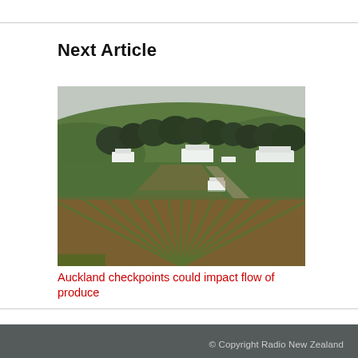Next Article
[Figure (photo): Aerial view of crop rows in a New Zealand farm, with green rolling hills, trees, and buildings in the background under an overcast sky.]
Auckland checkpoints could impact flow of produce
© Copyright Radio New Zealand